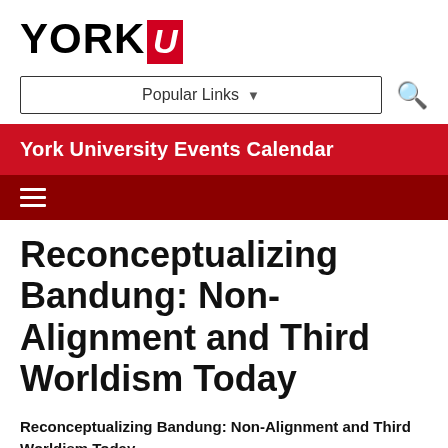[Figure (logo): York University logo: black text 'YORK' followed by a red block letter 'U' in italic]
[Figure (screenshot): Navigation bar with 'Popular Links' dropdown and search icon]
York University Events Calendar
Reconceptualizing Bandung: Non-Alignment and Third Worldism Today
Reconceptualizing Bandung: Non-Alignment and Third Worldism Today
2021 - 21 York Global Forum...